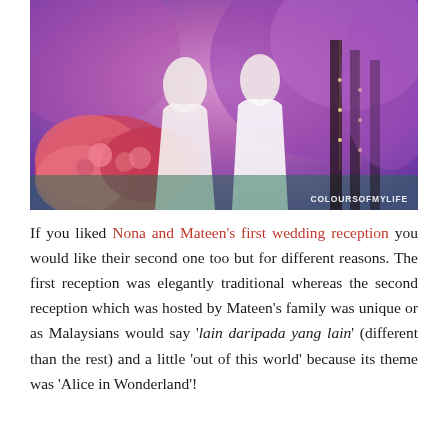[Figure (photo): Wedding photo showing two women in white wedding dresses standing on a stage decorated with elaborate pink and purple floral arrangements, candles, and fairy lights. A large floral bouquet is visible in the foreground. Watermark reads COLOURSOFMYLIFE.]
If you liked Nona and Mateen's first wedding reception you would like their second one too but for different reasons. The first reception was elegantly traditional whereas the second reception which was hosted by Mateen's family was unique or as Malaysians would say 'lain daripada yang lain' (different than the rest) and a little 'out of this world' because its theme was 'Alice in Wonderland'!